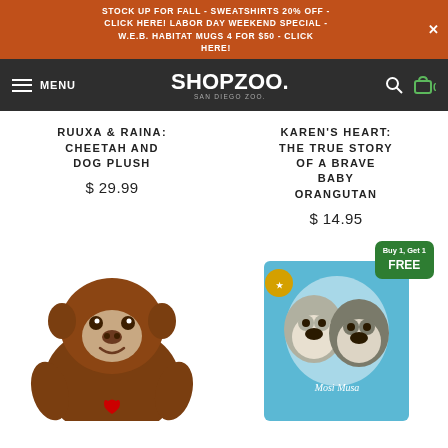STOCK UP FOR FALL - SWEATSHIRTS 20% OFF - CLICK HERE! LABOR DAY WEEKEND SPECIAL - W.E.B. HABITAT MUGS 4 FOR $50 - CLICK HERE!
[Figure (logo): ShopZoo San Diego Zoo logo with navigation bar including hamburger menu, MENU text, search icon, and cart icon showing 0 items]
RUUXA & RAINA: CHEETAH AND DOG PLUSH
$ 29.99
KAREN'S HEART: THE TRUE STORY OF A BRAVE BABY ORANGUTAN
$ 14.95
[Figure (photo): Orangutan plush stuffed animal toy with brown fur and a small red heart detail]
[Figure (photo): Book titled Mosi Musa with a Buy 1 Get 1 FREE badge, showing two monkeys on a light blue cover]